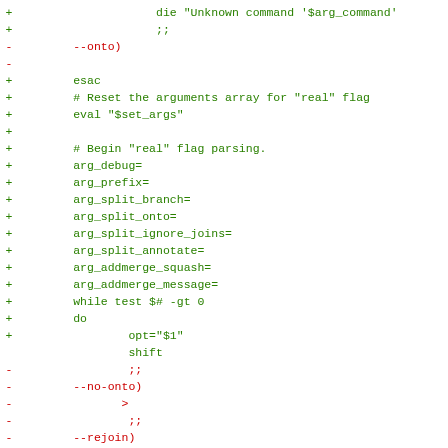Diff/code view showing added (+) and removed (-) lines of shell script code